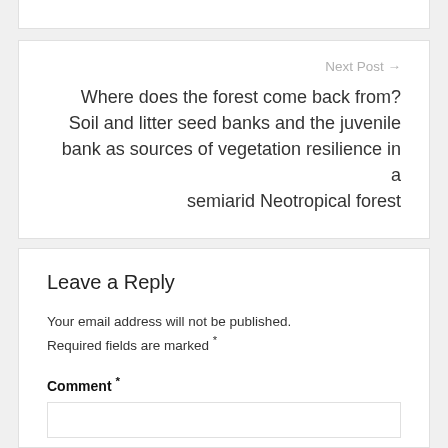Next Post →
Where does the forest come back from? Soil and litter seed banks and the juvenile bank as sources of vegetation resilience in a semiarid Neotropical forest
Leave a Reply
Your email address will not be published. Required fields are marked *
Comment *